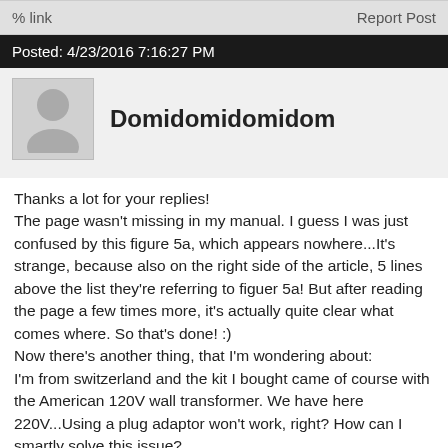% link    Report Post
Posted: 4/23/2016 7:16:27 PM
Domidomidomidom
Thanks a lot for your replies!
The page wasn't missing in my manual. I guess I was just confused by this figure 5a, which appears nowhere...It's strange, because also on the right side of the article, 5 lines above the list they're referring to figuer 5a! But after reading the page a few times more, it's actually quite clear what comes where. So that's done! :)
Now there's another thing, that I'm wondering about:
I'm from switzerland and the kit I bought came of course with the American 120V wall transformer. We have here 220V...Using a plug adaptor won't work, right? How can I smartly solve this issue?